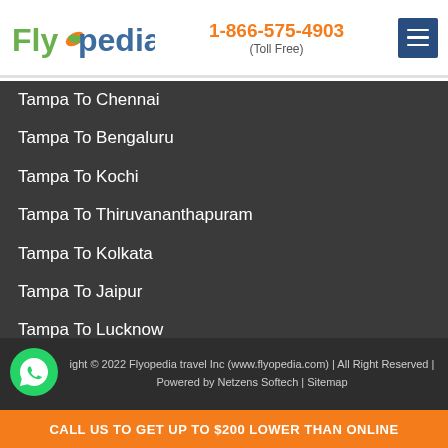Flyopedia | 1-866-575-4903 (Toll Free)
Tampa To Chennai
Tampa To Bengaluru
Tampa To Kochi
Tampa To Thiruvananthapuram
Tampa To Kolkata
Tampa To Jaipur
Tampa To Lucknow
Tampa To Vishakhapatnam
Tampa To Guwahati
Tampa To Hyderabad
Tampa To Amritsar
Tampa To Ahmedabad
Copyright © 2022 Flyopedia travel Inc (www.flyopedia.com) | All Right Reserved | Powered by Netzens Softech | Sitemap
CALL US TO GET UP TO $200 LOWER THAN ONLINE